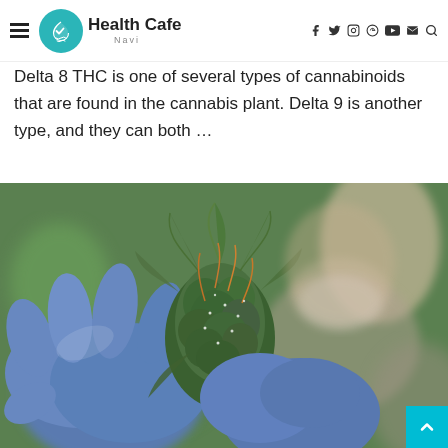Health Cafe Navi
Delta 8 THC is one of several types of cannabinoids that are found in the cannabis plant. Delta 9 is another type, and they can both ...
[Figure (photo): A person wearing blue latex gloves and a face mask holds up a cannabis bud close to the camera, with a blurred background.]